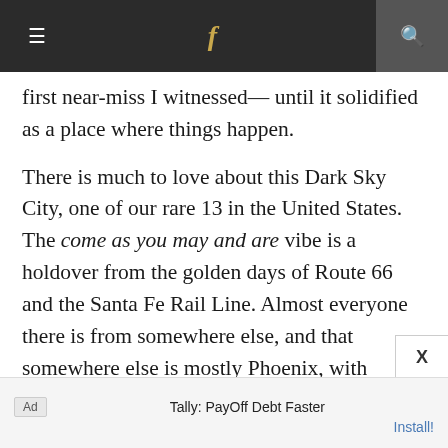≡  f  🔍
first near-miss I witnessed— until it solidified as a place where things happen.
There is much to love about this Dark Sky City, one of our rare 13 in the United States. The come as you may and are vibe is a holdover from the golden days of Route 66 and the Santa Fe Rail Line. Almost everyone there is from somewhere else, and that somewhere else is mostly Phoenix, with Tucson at a close second. This is a city that prizes movement—and I know what it means to move. Continue
Ad   Tally: PayOff Debt Faster   Install!